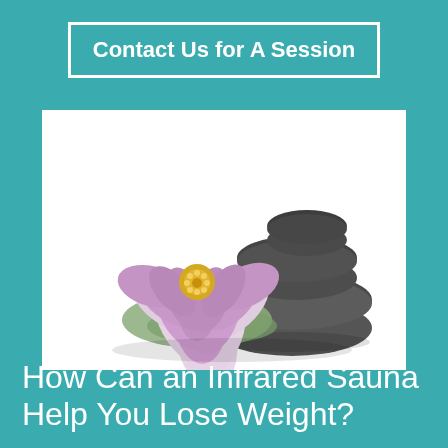Contact Us for A Session
[Figure (illustration): A pink lotus flower with yellow center placed beside three stacked dark grey smooth stones on a white background, spa/wellness style image]
How Can an Infrared Sauna Help You Lose Weight?